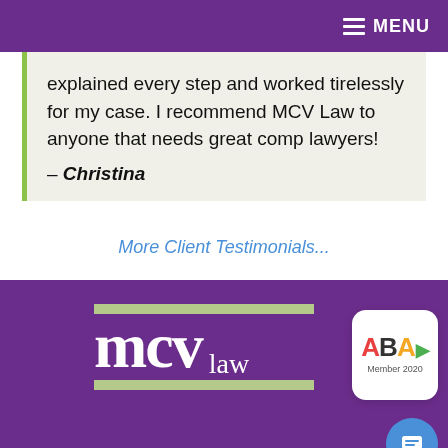MENU
explained every step and worked tirelessly for my case. I recommend MCV Law to anyone that needs great comp lawyers!
– Christina
More Client Testimonials...
[Figure (logo): MCV Law logo with sage green horizontal bars above and below the text 'mcv law' in white on purple background, with ABA Member 2020 badge]
Privacy Policy